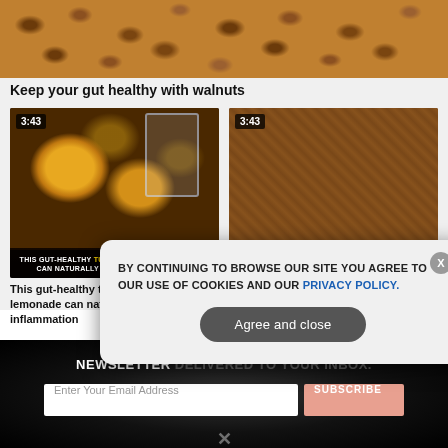[Figure (photo): Close-up photo of walnuts filling the frame, top portion of the page]
Keep your gut healthy with walnuts
[Figure (screenshot): Video thumbnail showing turmeric ginger lemonade with timer 3:43. Text overlay: THIS GUT-HEALTHY TURMERIC GINGER LEMONADE CAN NATURALLY RELIEVE INFLAMMATION]
[Figure (screenshot): Video thumbnail showing cumin seeds with timer 3:43. Text overlay: 6 SCIENCE-BACKED BENEFITS OF CUMIN]
This gut-healthy turmeric ginger lemonade can naturally relieve inflammation
6 Science-backed benefits of cumin
GET THE MOST COMPELLING MEDIA NEWSLETTER DELIVERED TO YOUR INBOX.
BY CONTINUING TO BROWSE OUR SITE YOU AGREE TO OUR USE OF COOKIES AND OUR PRIVACY POLICY.
Agree and close